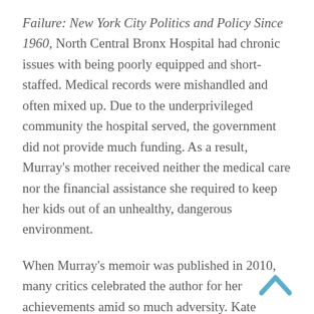Failure: New York City Politics and Policy Since 1960, North Central Bronx Hospital had chronic issues with being poorly equipped and short-staffed. Medical records were mishandled and often mixed up. Due to the underprivileged community the hospital served, the government did not provide much funding. As a result, Murray's mother received neither the medical care nor the financial assistance she required to keep her kids out of an unhealthy, dangerous environment.
When Murray's memoir was published in 2010, many critics celebrated the author for her achievements amid so much adversity. Kate Kellaway, who reviewed the book for The Guardian, spoke about how hard Murray's life had been growing up with two drug-addicted parents. Kellaway reflects on Murray's upbringing, observing